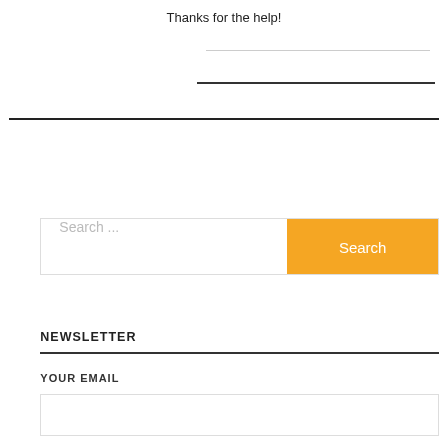Thanks for the help!
[Figure (other): Horizontal decorative lines used as separators]
[Figure (other): Search bar with text field showing 'Search ...' placeholder and orange 'Search' button]
NEWSLETTER
YOUR EMAIL
[Figure (other): Empty email input field box]